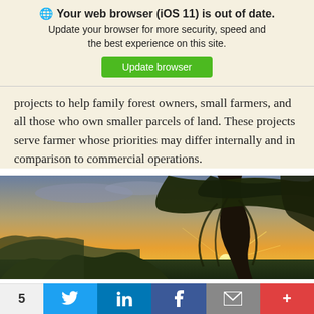🌐 Your web browser (iOS 11) is out of date. Update your browser for more security, speed and the best experience on this site. Update browser
projects to help family forest owners, small farmers, and all those who own smaller parcels of land. These projects serve farmer whose priorities may differ internally and in comparison to commercial operations.
[Figure (photo): Landscape photo of a dramatic tree silhouetted against a sunset sky with warm orange and yellow tones, green vegetation in foreground.]
5  [Twitter]  [LinkedIn]  [Facebook]  [Email]  [More]